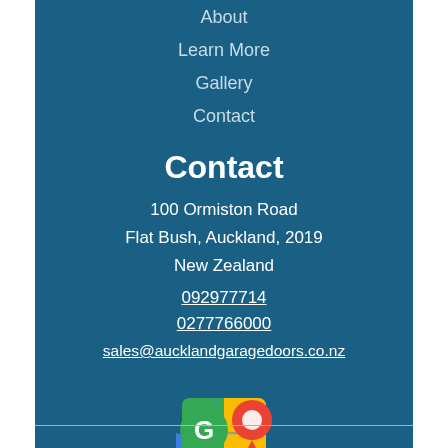About
Learn More
Gallery
Contact
Contact
100 Ormiston Road
Flat Bush, Auckland, 2019
New Zealand
092977714
0277766000
sales@aucklandgaragedoors.co.nz
[Figure (logo): Google Maps logo icon — colorful map pin with green triangle, yellow triangle, red location marker pin, and a white G letter on green background]